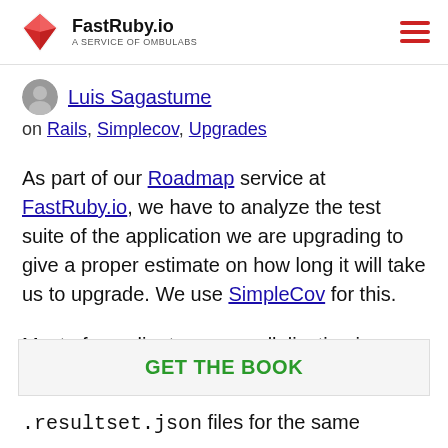FastRuby.io — A SERVICE OF OMBULABS
Luis Sagastume
on Rails, Simplecov, Upgrades
As part of our Roadmap service at FastRuby.io, we have to analyze the test suite of the application we are upgrading to give a proper estimate on how long it will take us to upgrade. We use SimpleCov for this.
Most of our clients use parallelization in
GET THE BOOK
.resultset.json files for the same